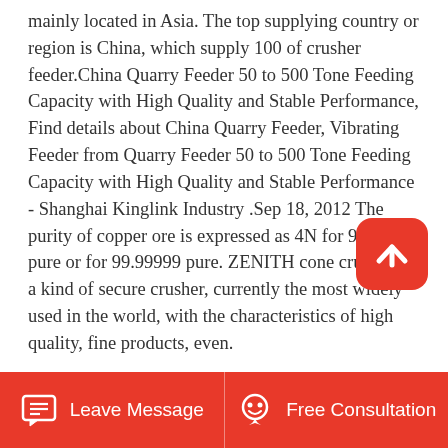mainly located in Asia. The top supplying country or region is China, which supply 100 of crusher feeder.China Quarry Feeder 50 to 500 Tone Feeding Capacity with High Quality and Stable Performance, Find details about China Quarry Feeder, Vibrating Feeder from Quarry Feeder 50 to 500 Tone Feeding Capacity with High Quality and Stable Performance - Shanghai Kinglink Industry .Sep 18, 2012 The purity of copper ore is expressed as 4N for 99.99 pure or for 99.99999 pure. ZENITH cone crusher is a kind of secure crusher, currently the most widely used in the world, with the characteristics of high quality, fine products, even.
[Figure (other): Red rounded square button with white upward chevron/arrow icon for scrolling to top]
Leave Message   Free Consultation